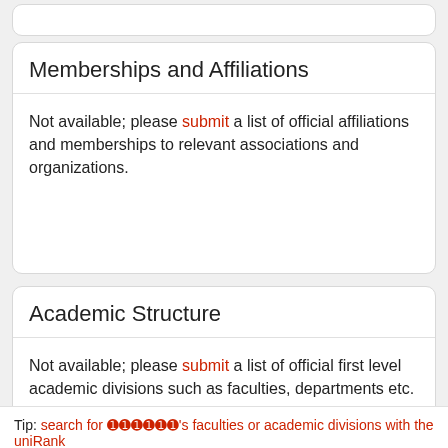Memberships and Affiliations
Not available; please submit a list of official affiliations and memberships to relevant associations and organizations.
Academic Structure
Not available; please submit a list of official first level academic divisions such as faculties, departments etc.
Tip: search for ??????'s faculties or academic divisions with the uniRank Search Engine